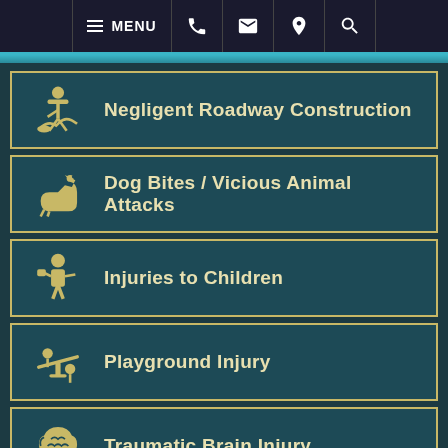[Figure (screenshot): Mobile website navigation bar with hamburger menu labeled MENU, phone icon, email icon, location pin icon, and search icon on dark background]
Negligent Roadway Construction
Dog Bites / Vicious Animal Attacks
Injuries to Children
Playground Injury
Traumatic Brain Injury